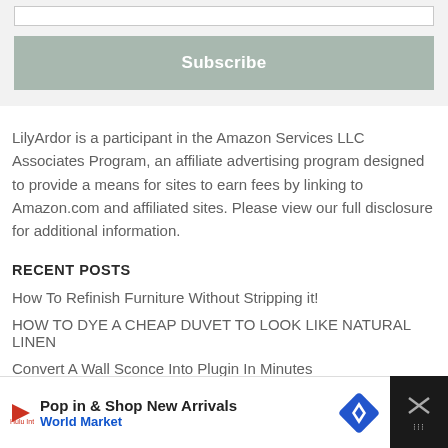[Figure (other): Subscribe button UI element with input field and teal/grey subscribe button]
LilyArdor is a participant in the Amazon Services LLC Associates Program, an affiliate advertising program designed to provide a means for sites to earn fees by linking to Amazon.com and affiliated sites. Please view our full disclosure for additional information.
RECENT POSTS
How To Refinish Furniture Without Stripping it!
HOW TO DYE A CHEAP DUVET TO LOOK LIKE NATURAL LINEN
Convert A Wall Sconce Into Plugin In Minutes
[Figure (other): Advertisement banner: Pop in & Shop New Arrivals - World Market, with play icon, diamond logo, and close button]